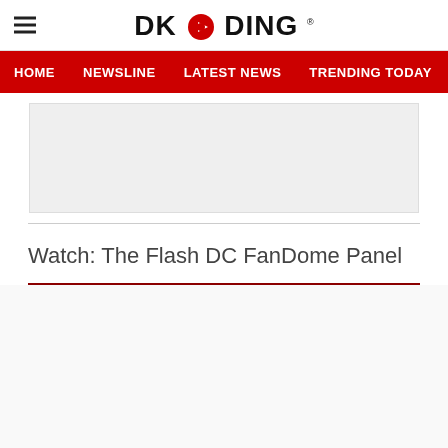DKODING
HOME  NEWSLINE  LATEST NEWS  TRENDING TODAY  ENT
Watch: The Flash DC FanDome Panel